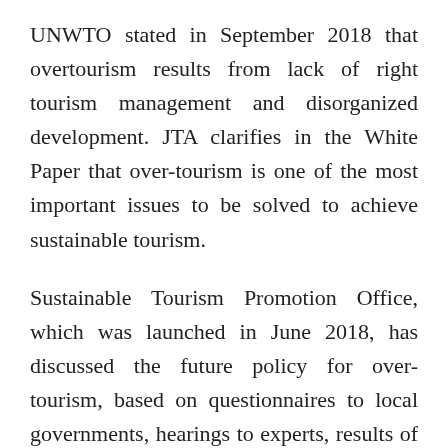UNWTO stated in September 2018 that overtourism results from lack of right tourism management and disorganized development. JTA clarifies in the White Paper that over-tourism is one of the most important issues to be solved to achieve sustainable tourism.
Sustainable Tourism Promotion Office, which was launched in June 2018, has discussed the future policy for over-tourism, based on questionnaires to local governments, hearings to experts, results of surveys by Policy Research Institute for Land, Infrastructure, Transport and Tourism and advanced case